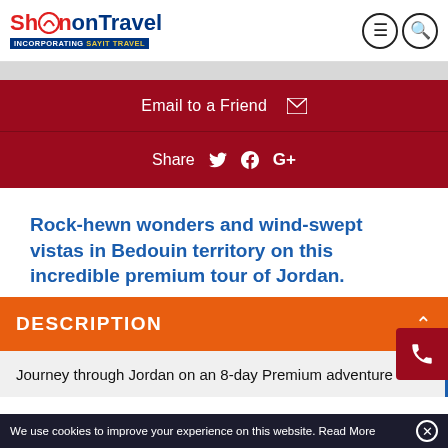Shandon Travel incorporating Sayit Travel
Email to a Friend
Share
Rock-hewn wonders and wind-swept vistas in Bedouin territory on this incredible premium tour of Jordan.
DESCRIPTION
Journey through Jordan on an 8-day Premium adventure
We use cookies to improve your experience on this website. Read More